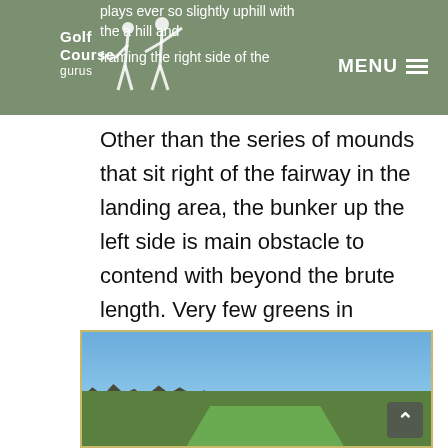plays ever so slightly uphill with the a hill and framing the right side of the
Other than the series of mounds that sit right of the fairway in the landing area, the bunker up the left side is main obstacle to contend with beyond the brute length. Very few greens in regulation will be found on this hole from the tips with a stellar short game being the likely reprive from scoring a bogey or worse.
[Figure (photo): Golf course fairway photograph showing green fairway with trees on sides and blue sky above]